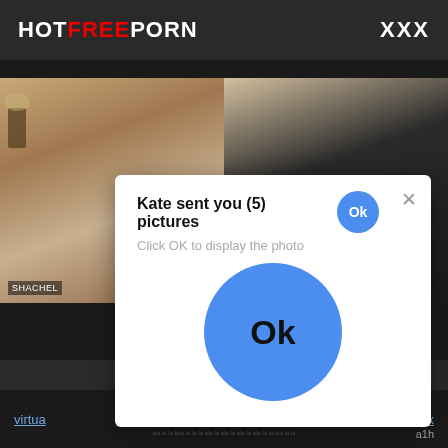HOTFREEPORN   XXX
[Figure (screenshot): Two-panel video chat screenshot showing two people on webcam]
Kate sent you (5) pictures
Click OK to display the photo
[Figure (other): Large blue circle Ok button]
virtua
- Sex
a1h